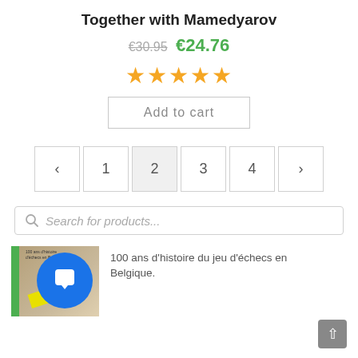Together with Mamedyarov
€30.95  €24.76
[Figure (other): Five gold star rating icons]
Add to cart
‹  1  2  3  4  ›
Search for products...
[Figure (photo): Book cover image partially visible at bottom left with blue chat bubble overlay icon]
100 ans d'histoire du jeu d'échecs en Belgique.